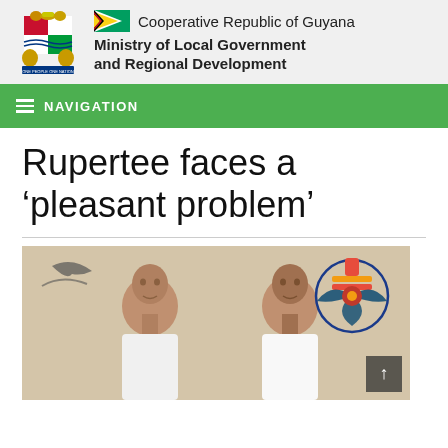Cooperative Republic of Guyana Ministry of Local Government and Regional Development
NAVIGATION
Rupertee faces a ‘pleasant problem’
[Figure (photo): Two men standing indoors in front of a wall with painted mural/decoration featuring birds and a stylized floral emblem in blue and red. A scroll-to-top button is visible in the lower right.]